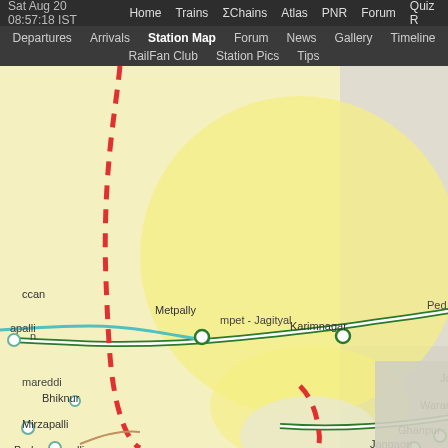Sat Aug 20 08:57:18 IST  Home  Trains  ΣChains  Atlas  PNR  Forum  Quiz R
Departures  Arrivals  Station Map  Forum  News  Gallery  Timeline  RailFan Club  Station Pics  Tips
[Figure (map): Railway station map showing train routes in Telangana region, India. Map shows stations including Sirpur Kaghaznagar, Bellampalli, Ramagundam, Karimnagar, Jammikunta, Warangal, Ghanpur, Nekonda, Jangaon, Metpally, Mirzapalli, Brahmanapalli, Bhiknur. A 'Stn' marker with a magenta star indicates the selected station near Odela. Green lines show railway routes. Red dashed lines indicate zone/state boundaries. Teal/cyan lines show rivers.]